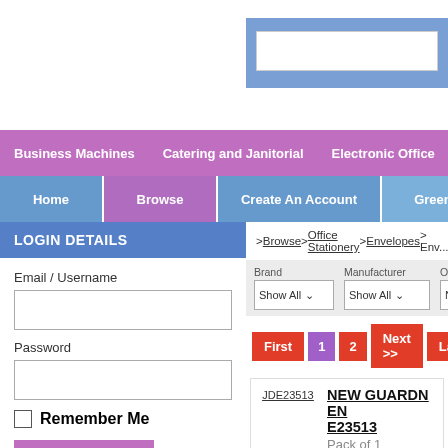[Figure (screenshot): Website header area with blue search box on white background]
Business Machines | Catering and Janitorial | Electronic Office | Furniture and
Home | Browse | Create An Account | Green
LOGIN DETAILS
Email / Username
Password
Remember Me
> Browse > Office Stationery > Envelopes > Env...
Brand: Show All | Manufacturer: Show All | Order By: None
First 1 2 Next >> Last
JDE23513
NEW GUARDN ENT E23513
Pack of 1